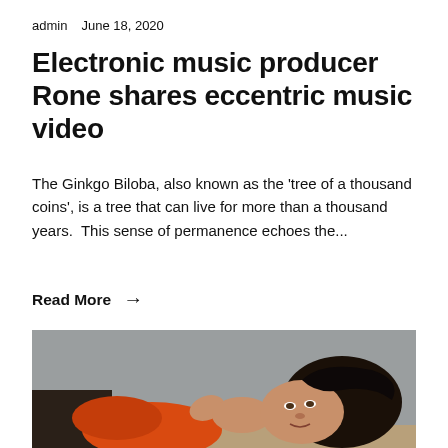admin   June 18, 2020
Electronic music producer Rone shares eccentric music video
The Ginkgo Biloba, also known as the 'tree of a thousand coins', is a tree that can live for more than a thousand years.  This sense of permanence echoes the...
Read More →
[Figure (photo): A person wearing an orange top lying down, looking upward toward the camera, with a grey background visible.]